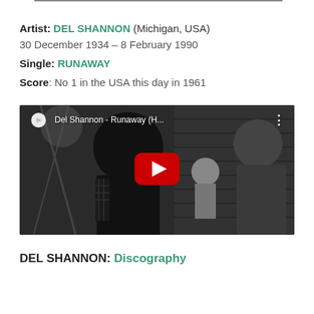Artist: DEL SHANNON (Michigan, USA)
30 December 1934 – 8 February 1990
Single: RUNAWAY
Score: No 1 in the USA this day in 1961
[Figure (screenshot): YouTube video thumbnail for 'Del Shannon - Runaway (H...)' showing a black and white image of people with a red YouTube play button overlay.]
DEL SHANNON: Discography